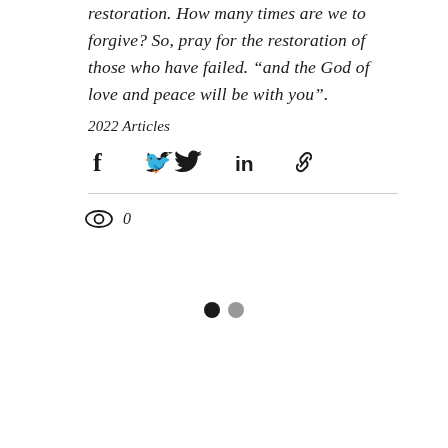restoration. How many times are we to forgive? So, pray for the restoration of those who have failed. “and the God of love and peace will be with you”.
2022 Articles
[Figure (other): Social share icons: Facebook, Twitter, LinkedIn, and a link/chain icon]
[Figure (other): Views icon (eye symbol) with count: 0]
[Figure (other): Pagination dots: one black dot and one gray dot]